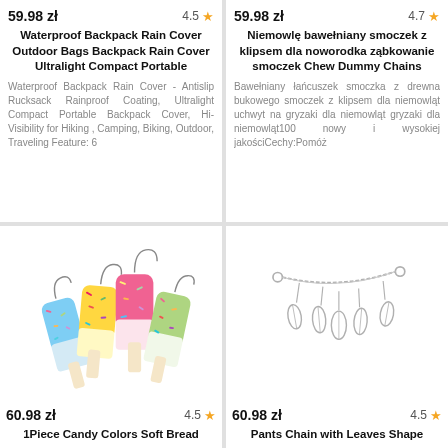59.98 zł | 4.5 ★ | Waterproof Backpack Rain Cover Outdoor Bags Backpack Rain Cover Ultralight Compact Portable | Waterproof Backpack Rain Cover - Antislip Rucksack Rainproof Coating, Ultralight Compact Portable Backpack Cover, Hi-Visibility for Hiking , Camping, Biking, Outdoor, Traveling Feature: 6
59.98 zł | 4.7 ★ | Niemowlę bawełniany smoczek z klipsem dla noworodka ząbkowanie smoczek Chew Dummy Chains | Bawełniany łańcuszek smoczka z drewna bukowego smoczek z klipsem dla niemowląt uchwyt na gryzaki dla niemowląt gryzaki dla niemowląt100 nowy i wysokiej jakościCechy:Pomóż
[Figure (photo): Colorful ice cream popsicle shaped soft bread charms in various colors: blue, yellow, pink/magenta, and green, each with sprinkles and a wire loop]
60.98 zł | 4.5 ★ | 1Piece Candy Colors Soft Bread
[Figure (photo): Silver pants chain with leaf-shaped dangles/charms hanging from a delicate silver chain]
60.98 zł | 4.5 ★ | Pants Chain with Leaves Shape